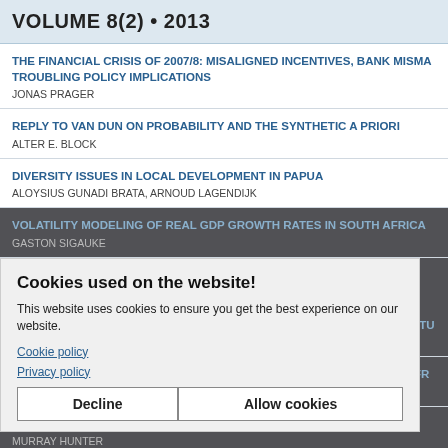VOLUME 8(2) • 2013
THE FINANCIAL CRISIS OF 2007/8: MISALIGNED INCENTIVES, BANK MISMA... TROUBLING POLICY IMPLICATIONS
JONAS PRAGER
REPLY TO VAN DUN ON PROBABILITY AND THE SYNTHETIC A PRIORI
ALTER E. BLOCK
DIVERSITY ISSUES IN LOCAL DEVELOPMENT IN PAPUA
ALOYSIUS GUNADI BRATA, ARNOUD LAGENDIJK
VOLATILITY MODELING OF REAL GDP GROWTH RATES IN SOUTH AFRICA...
GASTON SIGAUKE
THE RELATIONSHIP BETWEEN BANK ORIENTATION AND SHUBUHAT: A STU...
MISSIA RIES AHMED, SOFRI BIN YAHYA
IMPACT OF BUSINESS CYCLE ON BANK CAPITAL BUFFERS: EVIDENCE FR...
TENDRA MAHAKUD, SAUMYA RANJAN DASH
A TYPOLOGY OF ENTREPRENEURIAL OPPORTUNITY
MURRAY HUNTER
THE POSITIVE EFFECT OF ICT INFRASTRUCTURE IN REDUCING CORRUP...